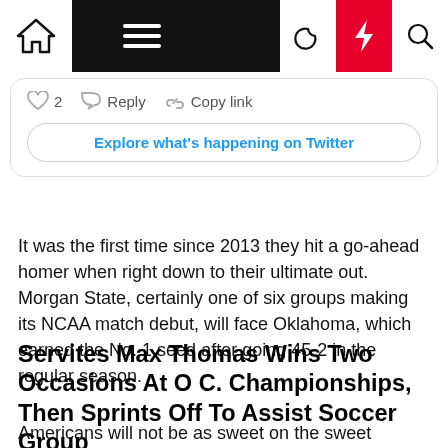Navigation bar with home, menu, moon, bolt, search icons
[Figure (screenshot): Twitter embed with like count 2, Reply, Copy link actions and Explore what's happening on Twitter button]
It was the first time since 2013 they hit a go-ahead homer when right down to their ultimate out. Morgan State, certainly one of six groups making its NCAA match debut, will face Oklahoma, which earned the No. 1 seed after going 45-2 in the regular season.
Servites Max Thomas Wins Two Occasions At O C. Championships, Then Sprints Off To Assist Soccer Group
Americans will not be as sweet on the sweet science as they used to be, but Vegas remains to be the